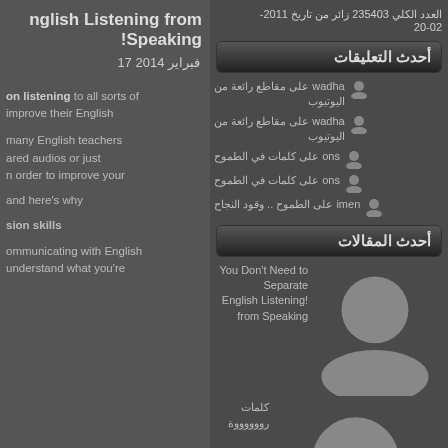العدد الكلي 235403 زائر من تاريخ 2011- 20-02
English Listening from Speaking!
17 فبراير 2014
on listening to all sorts of improve their English
many English teachers ared audios or just n order to improve your
and here's why
sion skills
ommunicating with English understand what you're
أحدث التعليقات
wadha على مقاطع رائعة من اليوتيوب
wadha على مقاطع رائعة من اليوتيوب
ons على كلمات في الطموح
ons على كلمات في الطموح
imen على الطموح .. وقود النجاح
أحدث المقالات
You Don't Need to Separate English Listening from Speaking!
كلمات رووووووة
كلمات مضيئة في حياتك
الصمت.....
THE REAL HOPE
الأرشيف
فبراير 2014